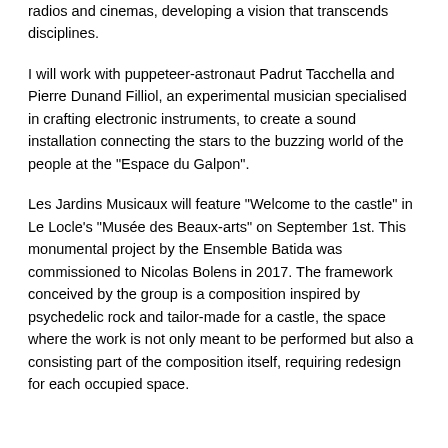radios and cinemas, developing a vision that transcends disciplines.
I will work with puppeteer-astronaut Padrut Tacchella and Pierre Dunand Filliol, an experimental musician specialised in crafting electronic instruments, to create a sound installation connecting the stars to the buzzing world of the people at the "Espace du Galpon".
Les Jardins Musicaux will feature "Welcome to the castle" in Le Locle's "Musée des Beaux-arts" on September 1st. This monumental project by the Ensemble Batida was commissioned to Nicolas Bolens in 2017. The framework conceived by the group is a composition inspired by psychedelic rock and tailor-made for a castle, the space where the work is not only meant to be performed but also a consisting part of the composition itself, requiring redesign for each occupied space.